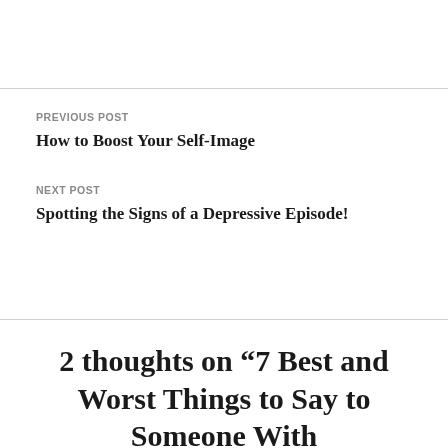PREVIOUS POST
How to Boost Your Self-Image
NEXT POST
Spotting the Signs of a Depressive Episode!
2 thoughts on “7 Best and Worst Things to Say to Someone With